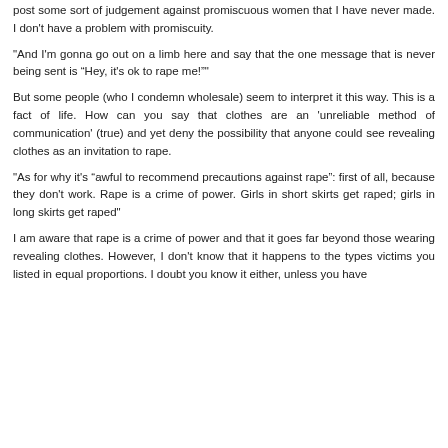post some sort of judgement against promiscuous women that I have never made. I don't have a problem with promiscuity.
"And I'm gonna go out on a limb here and say that the one message that is never being sent is “Hey, it's ok to rape me!”"
But some people (who I condemn wholesale) seem to interpret it this way. This is a fact of life. How can you say that clothes are an 'unreliable method of communication' (true) and yet deny the possibility that anyone could see revealing clothes as an invitation to rape.
"As for why it's “awful to recommend precautions against rape": first of all, because they don't work. Rape is a crime of power. Girls in short skirts get raped; girls in long skirts get raped"
I am aware that rape is a crime of power and that it goes far beyond those wearing revealing clothes. However, I don't know that it happens to the types victims you listed in equal proportions. I doubt you know it either, unless you have